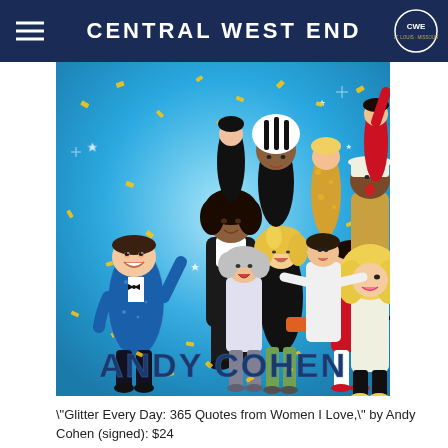CENTRAL WEST END
[Figure (illustration): Book cover illustration for 'Glitter Every Day: 365 Quotes from Women I Love' by Andy Cohen, featuring colorful cartoon caricatures of Andy Cohen in a sparkly blue tuxedo surrounded by famous women including Oprah, Dolly Parton, RuPaul and others, with gold confetti, on a blue glittery background, with 'ANDY COHEN' in large dark blue letters at the bottom.]
"Glitter Every Day: 365 Quotes from Women I Love," by Andy Cohen (signed): $24